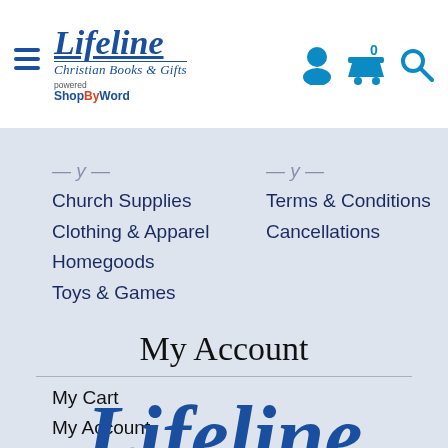Lifeline Christian Books & Gifts — powered by ShopByWord
Church Supplies
Clothing & Apparel
Homegoods
Toys & Games
Terms & Conditions
Cancellations
My Account
My Cart
My Account
My Orders
Forgot Password
Create Account
Support
[Figure (logo): Lifeline Christian Books & Gifts logo — partial, cut off at bottom of page]